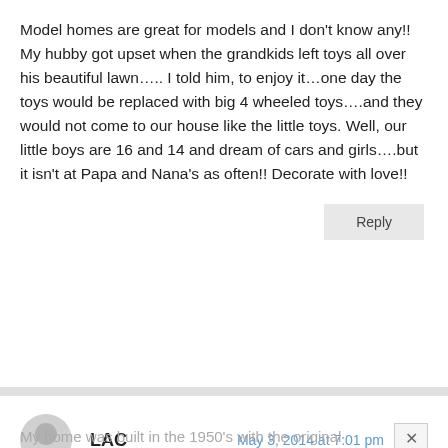Model homes are great for models and I don't know any!! My hubby got upset when the grandkids left toys all over his beautiful lawn….. I told him, to enjoy it…one day the toys would be replaced with big 4 wheeled toys….and they would not come to our house like the little toys. Well, our little boys are 16 and 14 and dream of cars and girls….but it isn't at Papa and Nana's as often!! Decorate with love!!
Reply
LAC
May 3, 2014 at 7:01 pm
My home was built in the 1950's with the original